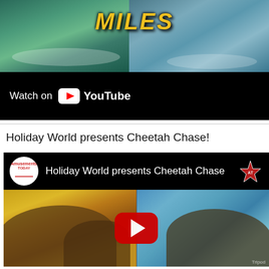[Figure (screenshot): YouTube video embed thumbnail for a water park ride, showing water splashing with colorful scenery, partially cropped at top. A black bar at bottom shows 'Watch on YouTube' with the YouTube logo.]
Watch on YouTube
Holiday World presents Cheetah Chase!
[Figure (screenshot): YouTube video embed for 'Holiday World presents Cheetah Chase' by Amusements Today channel. Top bar shows Amusements Today logo circle and video title. Main thumbnail shows close-up of water slide tubes with a red YouTube play button centered. A star logo is visible at top right.]